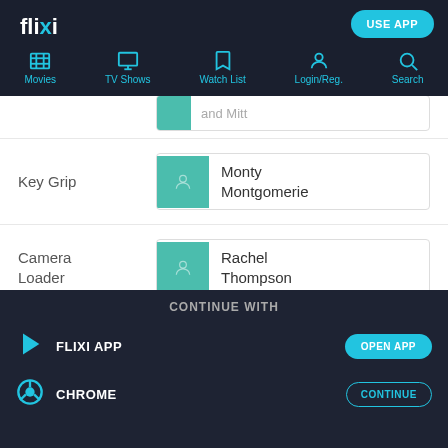flixi — USE APP
Movies | TV Shows | Watch List | Login/Reg. | Search
Key Grip — Monty Montgomerie
Camera Loader — Rachel Thompson
Dolly Grip — Ron Forward
CONTINUE WITH — FLIXI APP (OPEN APP) — CHROME (CONTINUE)